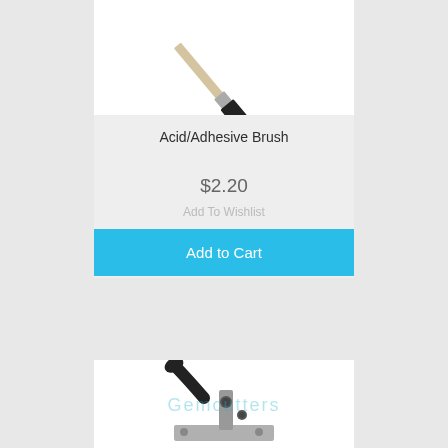[Figure (photo): Photo of an acid/adhesive brush with black bristles on a white background, shown diagonally]
Acid/Adhesive Brush
$2.20
Add To Wishlist
Add to Cart
[Figure (photo): Photo of a metal lever/clamp tool with black handle on a white background, with Gemcutters watermark]